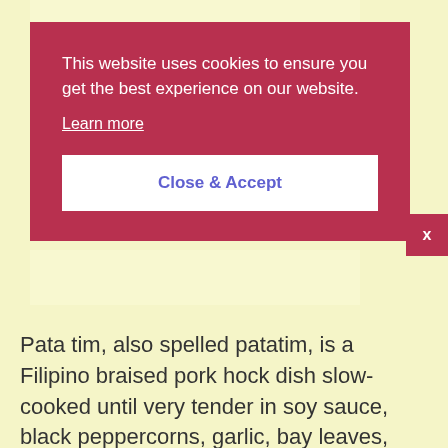[Figure (screenshot): Cookie consent banner overlay on a webpage with a crimson/dark red background. Contains cookie notice text, a 'Learn more' link, and a 'Close & Accept' button.]
This website uses cookies to ensure you get the best experience on our website.
Learn more
Close & Accept
Pata tim, also spelled patatim, is a Filipino braised pork hock dish slow-cooked until very tender in soy sauce, black peppercorns, garlic, bay leaves, and